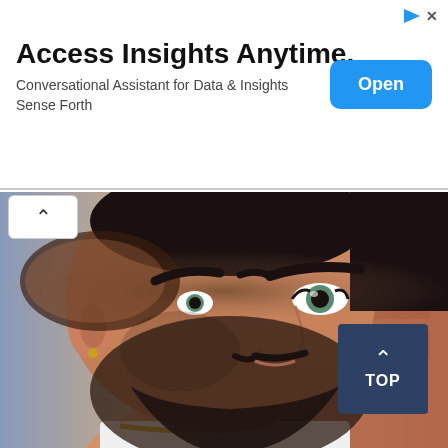[Figure (screenshot): Advertisement banner: 'Access Insights Anytime.' with subtitle 'Conversational Assistant for Data & Insights Sense Forth' and an Open button, plus ad icons top right.]
[Figure (photo): Close-up photo of a man with a fade haircut and beard, wearing a gold chain necklace, looking to the right. Background is blurred red/orange brick. A 'TOP' navigation button overlays bottom-right.]